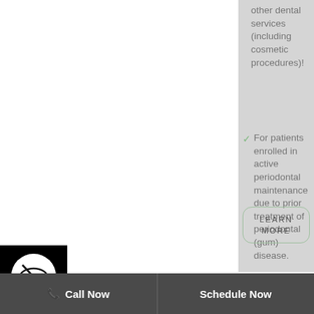other dental services (including cosmetic procedures)!
For patients enrolled in active periodontal maintenance due to prior treatment of periodontal (gum) disease.
[Figure (logo): Round black and white logo with a dental/eye graphic]
LEARN MORE
Call Now | Schedule Now